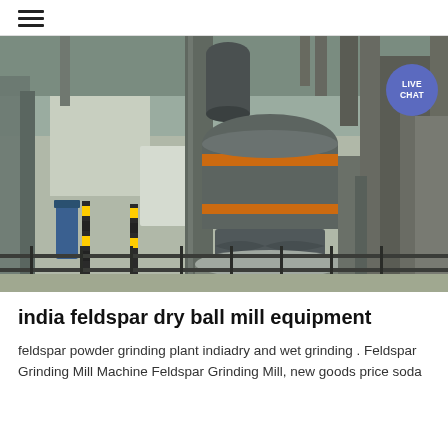☰
[Figure (photo): Industrial grinding mill equipment inside a large factory. A large cylindrical vertical mill with an orange stripe/band is the central feature, surrounded by metal scaffolding, pipes, columns, and conveyor structures in a grey industrial plant setting. A 'LIVE CHAT' blue circle badge is overlaid on the upper right of the image.]
india feldspar dry ball mill equipment
feldspar powder grinding plant indiadry and wet grinding . Feldspar Grinding Mill Machine Feldspar Grinding Mill, new goods price soda